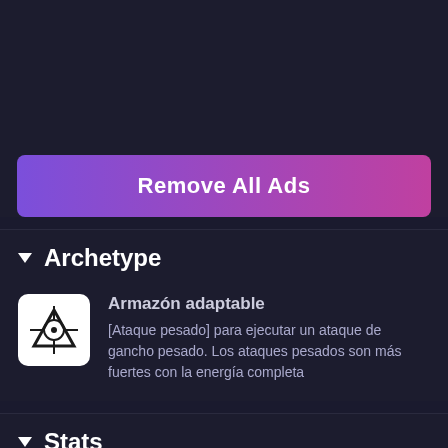[Figure (other): Button with gradient background (purple to pink) labeled 'Remove All Ads']
▼ Archetype
[Figure (logo): White square icon with triangle/crosshair symbol inside]
Armazón adaptable
[Ataque pesado] para ejecutar un ataque de gancho pesado. Los ataques pesados son más fuertes con la energía completa
▼ Stats
Velocidad de golpe    40